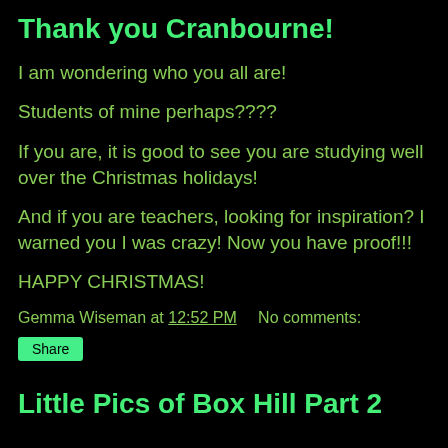Thank you Cranbourne!
I am wondering who you all are!
Students of mine perhaps????
If you are, it is good to see you are studying well over the Christmas holidays!
And if you are teachers, looking for inspiration? I warned you I was crazy! Now you have proof!!!
HAPPY CHRISTMAS!
Gemma Wiseman at 12:52 PM     No comments:
Share
Little Pics of Box Hill Part 2